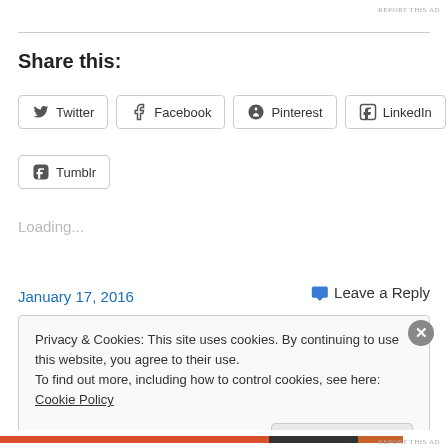REPORT THIS AD
Share this:
Twitter
Facebook
Pinterest
LinkedIn
Tumblr
Loading...
January 17, 2016
Leave a Reply
Privacy & Cookies: This site uses cookies. By continuing to use this website, you agree to their use.
To find out more, including how to control cookies, see here: Cookie Policy
Close and accept